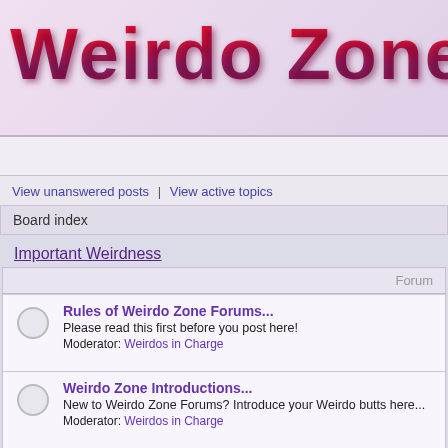Weirdo Zone Foru...
View unanswered posts | View active topics
Board index
Important Weirdness
| Forum |
| --- |
| Rules of Weirdo Zone Forums...
Please read this first before you post here!
Moderator: Weirdos in Charge |
| Weirdo Zone Introductions...
New to Weirdo Zone Forums? Introduce your Weirdo butts here...
Moderator: Weirdos in Charge |
The Weirdo Zone
| Forum |
| --- |
| Weirdo Zone News and Rants...
Check here to keep up with the latest dirt on both of my HTML messes...
Moderator: Weirdos in Charge |